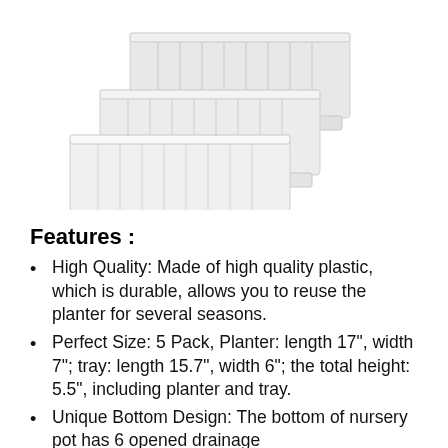[Figure (photo): White plastic rectangular planters/nursery pots with trays, stacked and arranged, photographed on a white background.]
Features :
High Quality: Made of high quality plastic, which is durable, allows you to reuse the planter for several seasons.
Perfect Size: 5 Pack, Planter: length 17", width 7"; tray: length 15.7", width 6"; the total height: 5.5", including planter and tray.
Unique Bottom Design: The bottom of nursery pot has 6 opened drainage